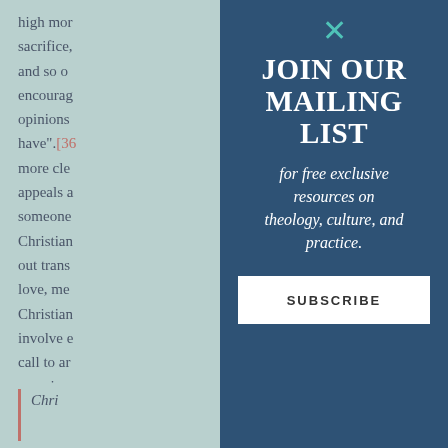high mor sacrifice, and so on encourage opinions have".[36 more cle appeals a someone Christian out trans love, mer Christian involve e call to ar perceive
Chris
[Figure (other): Modal popup overlay with dark blue background. Contains a teal X close button, bold uppercase heading 'JOIN OUR MAILING LIST', italic subheading 'for free exclusive resources on theology, culture, and practice.', and a white SUBSCRIBE button.]